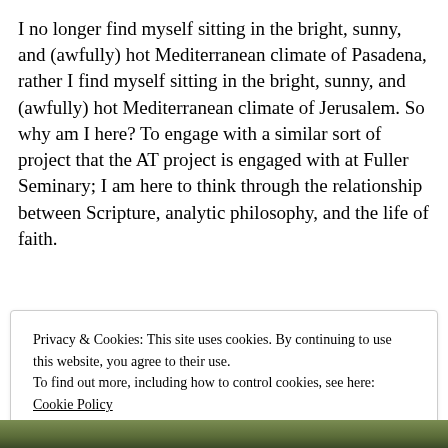I no longer find myself sitting in the bright, sunny, and (awfully) hot Mediterranean climate of Pasadena, rather I find myself sitting in the bright, sunny, and (awfully) hot Mediterranean climate of Jerusalem. So why am I here? To engage with a similar sort of project that the AT project is engaged with at Fuller Seminary; I am here to think through the relationship between Scripture, analytic philosophy, and the life of faith.
Privacy & Cookies: This site uses cookies. By continuing to use this website, you agree to their use.
To find out more, including how to control cookies, see here: Cookie Policy
Close and accept
[Figure (photo): Partial view of a landscape/outdoor photo at the bottom of the page, showing green foliage and what appears to be a building.]